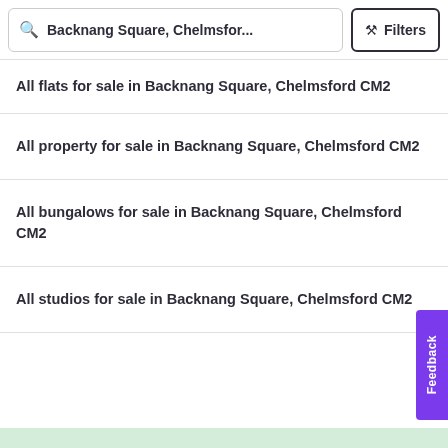Backnang Square, Chelmsfor... Filters
All flats for sale in Backnang Square, Chelmsford CM2
All property for sale in Backnang Square, Chelmsford CM2
All bungalows for sale in Backnang Square, Chelmsford CM2
All studios for sale in Backnang Square, Chelmsford CM2